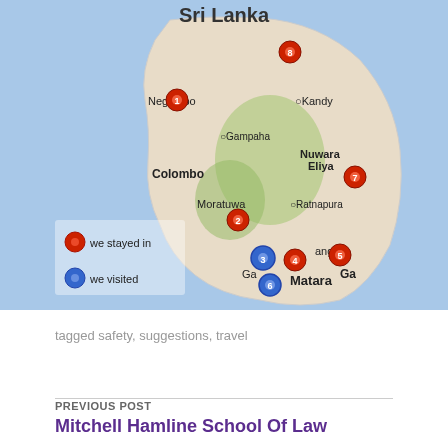[Figure (map): Map of Sri Lanka with numbered red pins (1-8) showing places stayed and blue pins showing places visited. Legend shows red dot = 'we stayed in', blue dot = 'we visited'. City labels include Negombo, Kandy, Gampaha, Nuwara Eliya, Colombo, Moratuwa, Ratnapura, Galle, Matara.]
tagged safety, suggestions, travel
PREVIOUS POST
Mitchell Hamline School Of Law